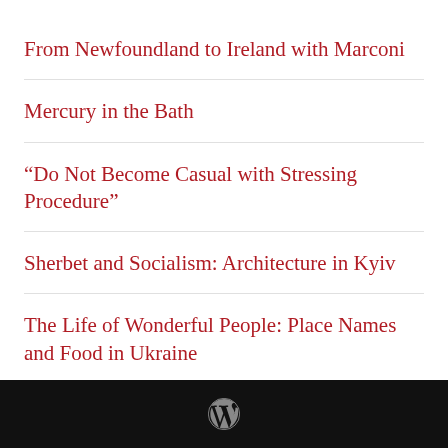From Newfoundland to Ireland with Marconi
Mercury in the Bath
“Do Not Become Casual with Stressing Procedure”
Sherbet and Socialism: Architecture in Kyiv
The Life of Wonderful People: Place Names and Food in Ukraine
WordPress logo